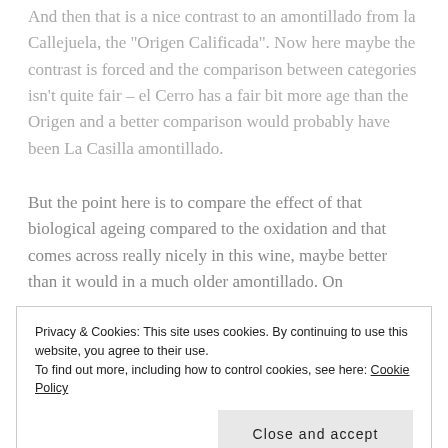And then that is a nice contrast to an amontillado from la Callejuela, the "Origen Calificada". Now here maybe the contrast is forced and the comparison between categories isn't quite fair – el Cerro has a fair bit more age than the Origen and a better comparison would probably have been La Casilla amontillado.
But the point here is to compare the effect of that biological ageing compared to the oxidation and that comes across really nicely in this wine, maybe better than it would in a much older amontillado. On
Privacy & Cookies: This site uses cookies. By continuing to use this website, you agree to their use.
To find out more, including how to control cookies, see here: Cookie Policy
Close and accept